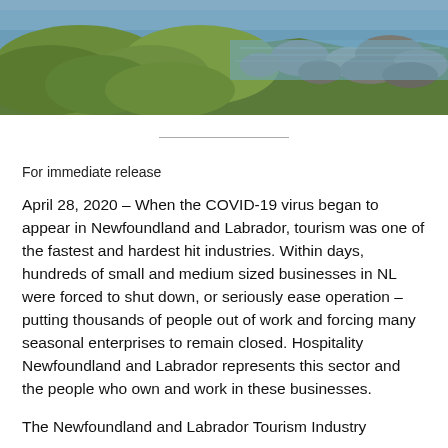[Figure (photo): Landscape photo showing rocky coastline with green grassy terrain in the foreground and blue water in the background.]
For immediate release
April 28, 2020 – When the COVID-19 virus began to appear in Newfoundland and Labrador, tourism was one of the fastest and hardest hit industries. Within days, hundreds of small and medium sized businesses in NL were forced to shut down, or seriously ease operation – putting thousands of people out of work and forcing many seasonal enterprises to remain closed. Hospitality Newfoundland and Labrador represents this sector and the people who own and work in these businesses.
The Newfoundland and Labrador Tourism Industry